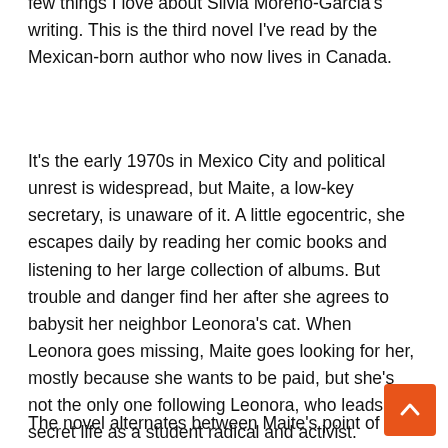few things I love about Silvia Moreno-Garcia's writing. This is the third novel I've read by the Mexican-born author who now lives in Canada.
It's the early 1970s in Mexico City and political unrest is widespread, but Maite, a low-key secretary, is unaware of it. A little egocentric, she escapes daily by reading her comic books and listening to her large collection of albums. But trouble and danger find her after she agrees to babysit her neighbor Leonora's cat. When Leonora goes missing, Maite goes looking for her, mostly because she wants to be paid, but she's not the only one following Leonora, who leads a secret life as a student radical and activist.
The novel alternates between Maite's point of